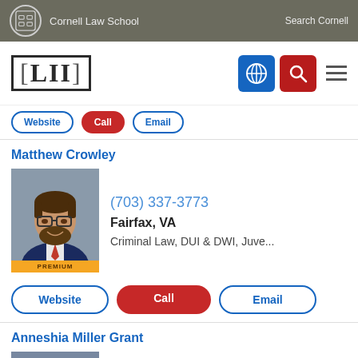Cornell Law School | Search Cornell
[Figure (logo): LII Legal Information Institute logo with navigation icons]
[Figure (other): Filter bar with Website, Call, Email buttons]
Matthew Crowley
[Figure (photo): Professional headshot of Matthew Crowley, male attorney wearing glasses and suit, with PREMIUM badge]
(703) 337-3773
Fairfax, VA
Criminal Law, DUI & DWI, Juve...
Website | Call | Email
Anneshia Miller Grant
[Figure (photo): Professional headshot of Anneshia Miller Grant, female attorney]
(540) 370-4140
Fredericksburg, VA
Family Law, Divorce